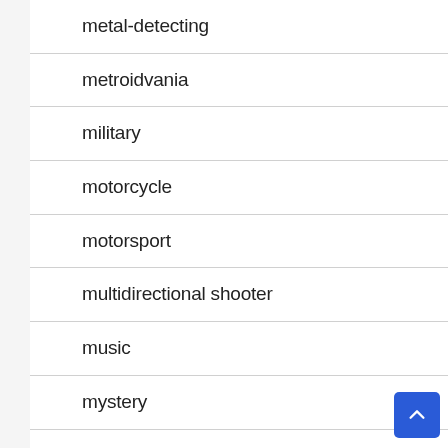metal-detecting
metroidvania
military
motorcycle
motorsport
multidirectional shooter
music
mystery
narrative thriller